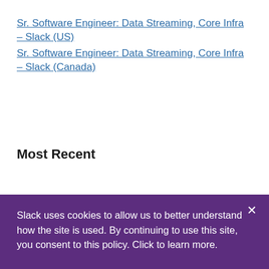Sr. Software Engineer: Data Streaming, Core Infra – Slack (US)
Sr. Software Engineer: Data Streaming, Core Infra – Slack (Canada)
Most Recent
Slack uses cookies to allow us to better understand how the site is used. By continuing to use this site, you consent to this policy. Click to learn more.